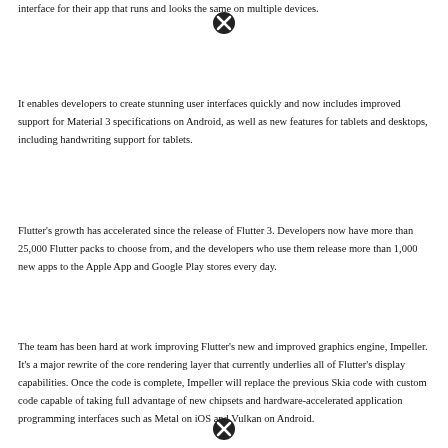interface for their app that runs and looks the same on multiple devices.
It enables developers to create stunning user interfaces quickly and now includes improved support for Material 3 specifications on Android, as well as new features for tablets and desktops, including handwriting support for tablets.
Flutter's growth has accelerated since the release of Flutter 3. Developers now have more than 25,000 Flutter packs to choose from, and the developers who use them release more than 1,000 new apps to the Apple App and Google Play stores every day.
The team has been hard at work improving Flutter's new and improved graphics engine, Impeller. It's a major rewrite of the core rendering layer that currently underlies all of Flutter's display capabilities. Once the code is complete, Impeller will replace the previous Skia code with custom code capable of taking full advantage of new chipsets and hardware-accelerated application programming interfaces such as Metal on iOS and Vulkan on Android.